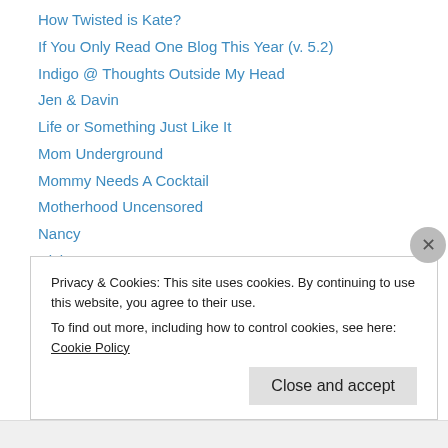How Twisted is Kate?
If You Only Read One Blog This Year (v. 5.2)
Indigo @ Thoughts Outside My Head
Jen & Davin
Life or Something Just Like It
Mom Underground
Mommy Needs A Cocktail
Motherhood Uncensored
Nancy
Nick
Notes from a Small Cavy
Notes from the Trenches
One Monkey
Privacy & Cookies: This site uses cookies. By continuing to use this website, you agree to their use. To find out more, including how to control cookies, see here: Cookie Policy
Close and accept